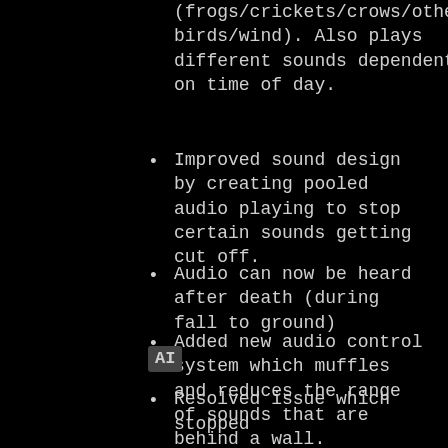(frogs/crickets/crows/other birds/wind). Also plays different sounds dependent on time of day.
Improved sound design by creating pooled audio playing to stop certain sounds getting cut off.
Audio can now be heard after death (during fall to ground)
Added new audio control system which muffles and reduces the range of sounds that are behind a wall.
AI
Resolved issue which stopped